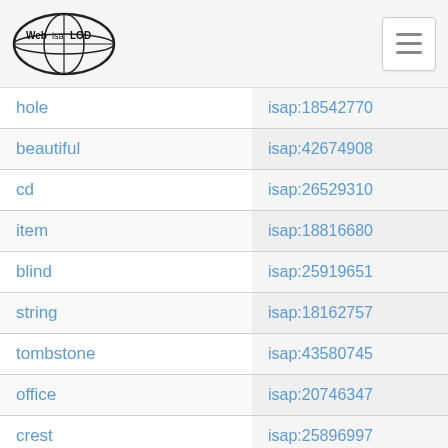Web isa LOD
| term | identifier |
| --- | --- |
| hole | isap:18542770... |
| beautiful | isap:42674908... |
| cd | isap:26529310... |
| item | isap:18816680... |
| blind | isap:25919651... |
| string | isap:18162757... |
| tombstone | isap:43580745... |
| office | isap:20746347... |
| crest | isap:25896997... |
| likewise | isap:17982451... |
| display | isap:24498990... |